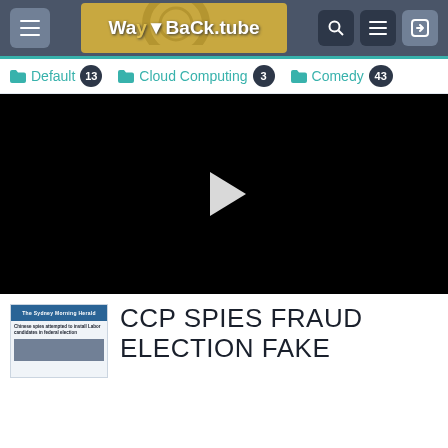[Figure (screenshot): WayBackTube website navigation bar with hamburger menu, logo, search, menu and login icons]
Default 13 | Cloud Computing 3 | Comedy 43
[Figure (screenshot): Black video player with white play button triangle in center]
[Figure (screenshot): Thumbnail of newspaper article about Chinese spies attempting to install Labor candidates in federal election]
CCP SPIES FRAUD ELECTION FAKE